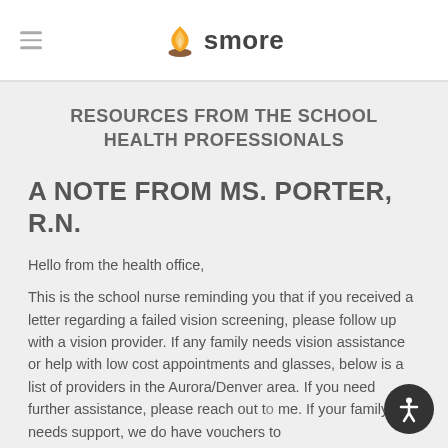smore
RESOURCES FROM THE SCHOOL HEALTH PROFESSIONALS
A NOTE FROM MS. PORTER, R.N.
Hello from the health office,
This is the school nurse reminding you that if you received a letter regarding a failed vision screening, please follow up with a vision provider. If any family needs vision assistance or help with low cost appointments and glasses, below is a list of providers in the Aurora/Denver area. If you need further assistance, please reach out to me. If your family needs support, we do have vouchers to